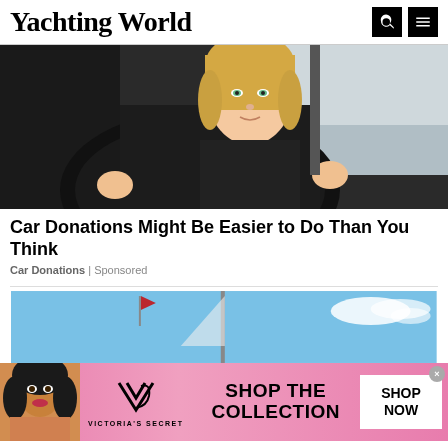Yachting World
[Figure (photo): Young blonde woman sitting in driver's seat of a car, hands on steering wheel, looking at camera]
Car Donations Might Be Easier to Do Than You Think
Car Donations | Sponsored
[Figure (photo): Partial view of a blue sky with sailboat mast visible, advertisement image]
[Figure (photo): Victoria's Secret advertisement banner with model, logo, 'SHOP THE COLLECTION' text and 'SHOP NOW' button]